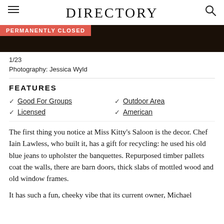DIRECTORY
[Figure (photo): Dark restaurant interior image strip with PERMANENTLY CLOSED badge overlay]
1/23
Photography: Jessica Wyld
FEATURES
Good For Groups
Licensed
Outdoor Area
American
The first thing you notice at Miss Kitty’s Saloon is the decor. Chef Iain Lawless, who built it, has a gift for recycling: he used his old blue jeans to upholster the banquettes. Repurposed timber pallets coat the walls, there are barn doors, thick slabs of mottled wood and old window frames.
It has such a fun, cheeky vibe that its current owner, Michael